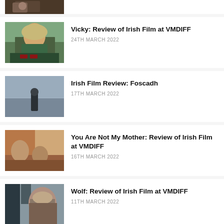[Figure (photo): Partial thumbnail of a dark film still at top of page, cropped]
[Figure (photo): Thumbnail of Vicky film: woman with blonde hair seated at desk]
Vicky: Review of Irish Film at VMDIFF
24TH MARCH 2022
[Figure (photo): Thumbnail of Foscadh film: lone figure standing by ocean/sea]
Irish Film Review: Foscadh
17TH MARCH 2022
[Figure (photo): Thumbnail of You Are Not My Mother film: people in a room]
You Are Not My Mother: Review of Irish Film at VMDIFF
16TH MARCH 2022
[Figure (photo): Thumbnail of Wolf film: person with long hair]
Wolf: Review of Irish Film at VMDIFF
11TH MARCH 2022